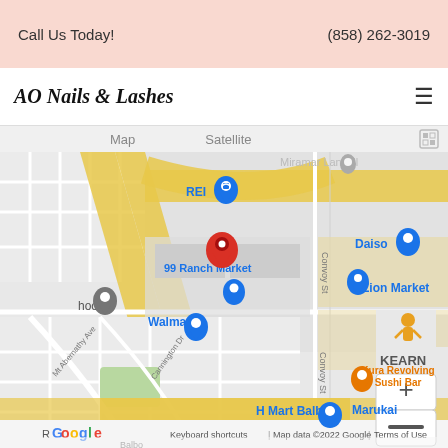Call Us Today!   (858) 262-3019
AO Nails & Lashes
[Figure (map): Google Maps screenshot showing the area around 99 Ranch Market near Miramar, San Diego. Landmarks visible include REI, Zion Market, Walmart, Daiso, Kura Revolving Sushi Bar, H Mart Balboa, Marukai, and a school. A red location pin marks the business location. Roads, including Convoy St and Mt Abernathy Ave, are visible with yellow highway lines. Map data ©2022 Google.]